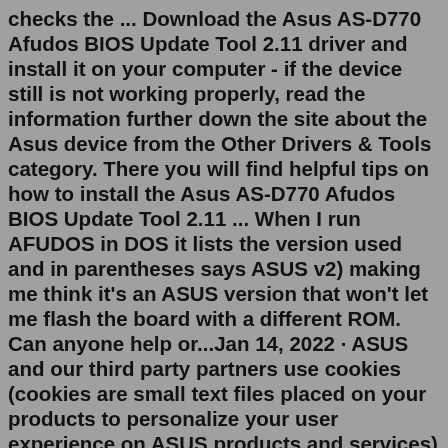checks the ... Download the Asus AS-D770 Afudos BIOS Update Tool 2.11 driver and install it on your computer - if the device still is not working properly, read the information further down the site about the Asus device from the Other Drivers & Tools category. There you will find helpful tips on how to install the Asus AS-D770 Afudos BIOS Update Tool 2.11 ... When I run AFUDOS in DOS it lists the version used and in parentheses says ASUS v2) making me think it's an ASUS version that won't let me flash the board with a different ROM. Can anyone help or...Jan 14, 2022 · ASUS and our third party partners use cookies (cookies are small text files placed on your products to personalize your user experience on ASUS products and services) and similar technologies such as web beacons to provide our products and services to you. Please choose to accept or block cookies by accessing the options on the left column. AFUDOS downloaded from ASUS.comdidn`t work with /n.How to Use AFUDOS on an ASUS. The basic input/output system, or BIOS, controls the operation of hardware on an